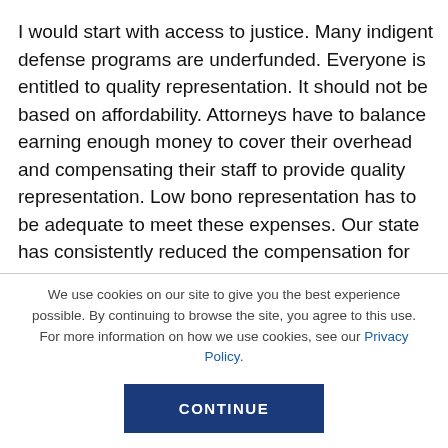I would start with access to justice. Many indigent defense programs are underfunded. Everyone is entitled to quality representation. It should not be based on affordability. Attorneys have to balance earning enough money to cover their overhead and compensating their staff to provide quality representation. Low bono representation has to be adequate to meet these expenses. Our state has consistently reduced the compensation for indigent
We use cookies on our site to give you the best experience possible. By continuing to browse the site, you agree to this use. For more information on how we use cookies, see our Privacy Policy.
CONTINUE